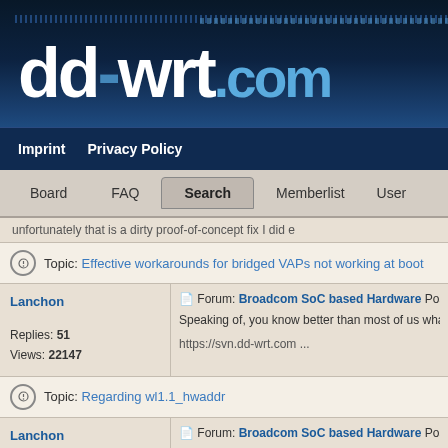dd-wrt.com
Imprint   Privacy Policy
Board   FAQ   Search   Memberlist   User
unfortunately that is a dirty proof-of-concept fix I did e
Topic: Effective workarounds for bridged VAPs not working at boot
Lanchon
Forum: Broadcom SoC based Hardware Posted
Replies: 51
Views: 22147
Speaking of, you know better than most of us what the
https://svn.dd-wrt.com ...
Topic: Regarding wl1.1_hwaddr
Lanchon
Forum: Broadcom SoC based Hardware Posted
We use cookies to enhance your experience. By continuing to visit this site you agree to our use of cookies and our Privacy Policy